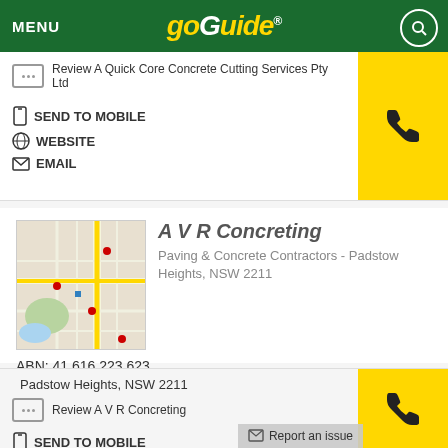MENU | GoGuide
Review A Quick Core Concrete Cutting Services Pty Ltd
SEND TO MOBILE
WEBSITE
EMAIL
A V R Concreting
Paving & Concrete Contractors - Padstow Heights, NSW 2211
[Figure (map): Street map thumbnail showing Padstow Heights area with red markers]
ABN: 41 616 223 623
Padstow Heights, NSW 2211
Review A V R Concreting
SEND TO MOBILE
EMAIL
Report an issue